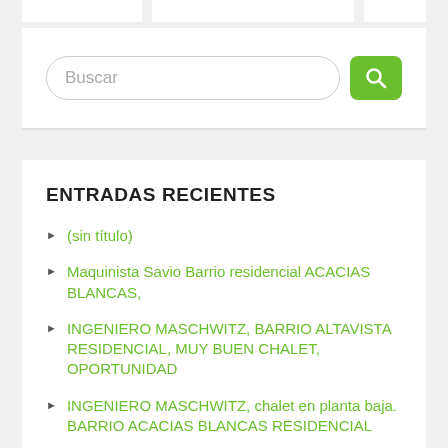[Figure (screenshot): Top navigation bar with white blocks on gray background]
[Figure (screenshot): Search bar with rounded input field labeled Buscar and green search button with magnifying glass icon]
ENTRADAS RECIENTES
(sin título)
Maquinista Savio Barrio residencial ACACIAS BLANCAS,
INGENIERO MASCHWITZ, BARRIO ALTAVISTA RESIDENCIAL, MUY BUEN CHALET, OPORTUNIDAD
INGENIERO MASCHWITZ, chalet en planta baja. BARRIO ACACIAS BLANCAS RESIDENCIAL
MASCHWITZ, LOS ÑANDUSES, EXCELENTE